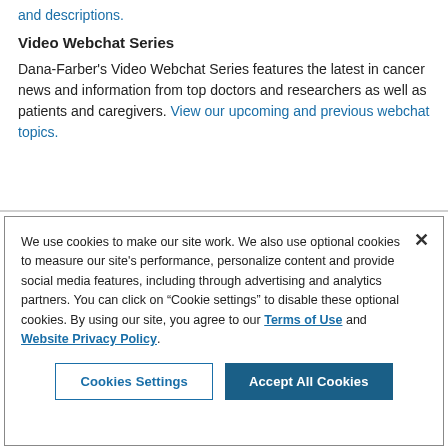and descriptions.
Video Webchat Series
Dana-Farber's Video Webchat Series features the latest in cancer news and information from top doctors and researchers as well as patients and caregivers. View our upcoming and previous webchat topics.
We use cookies to make our site work. We also use optional cookies to measure our site's performance, personalize content and provide social media features, including through advertising and analytics partners. You can click on “Cookie settings” to disable these optional cookies. By using our site, you agree to our Terms of Use and Website Privacy Policy.